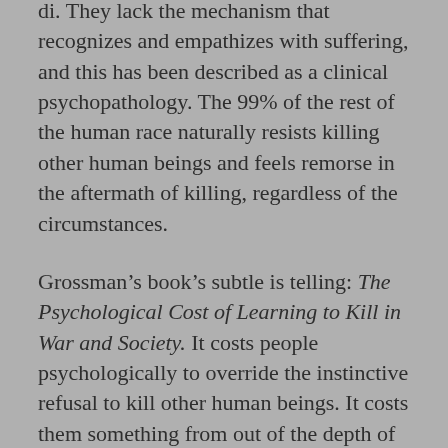di. They lack the mechanism that recognizes and empathizes with suffering, and this has been described as a clinical psychopathology. The 99% of the rest of the human race naturally resists killing other human beings and feels remorse in the aftermath of killing, regardless of the circumstances.
Grossman's book's subtle is telling: The Psychological Cost of Learning to Kill in War and Society. It costs people psychologically to override the instinctive refusal to kill other human beings. It costs them something from out of the depth of their souls. Psychology, let's not forget is the study of the psyche, the Greek word, not for mind, but for soul. There is a mental cost for killing in combat, but this cost